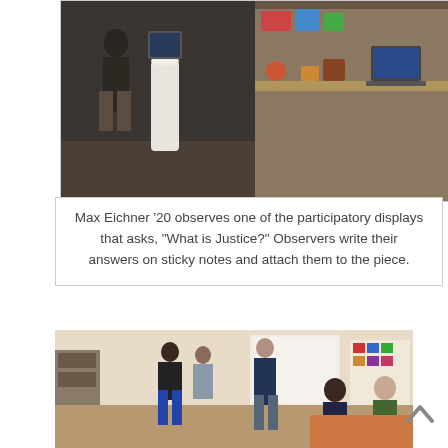[Figure (photo): Photo of Max Eichner '20 observing a participatory display installation in a gallery setting. Two side-by-side views: left shows a person standing near a white cylindrical display, right shows a desk with laptop and items on shelves.]
Max Eichner '20 observes one of the participatory displays that asks, “What is Justice?” Observers write their answers on sticky notes and attach them to the piece.
[Figure (photo): Photo of a group of students gathered in a room or studio space. Several people standing and seated, engaged in conversation or a presentation.]